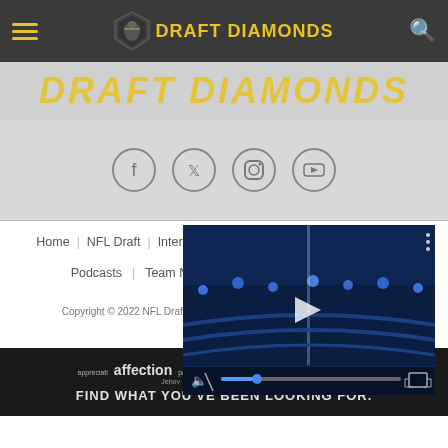Draft Diamonds - NFL Draft news and analysis
[Figure (logo): Draft Diamonds shield logo with football player silhouette]
DRAFT DIAMONDS
[Figure (illustration): Social media icons: Facebook, Twitter, Instagram, YouTube]
Home | NFL Draft | Interviews | Fantasy Football | Transactions
Podcasts | Team News | Other News | Our Team
Copyright © 2022 NFL Draft Diamonds. All rights reserved. Privacy Policy
[Figure (screenshot): Video player overlay showing NFL stadium with blue lighting, progress bar, mute and fullscreen controls]
[Figure (infographic): Dark banner ad with words: appreciation, affection, patience, enjoyment, beloved by, Treasure - Find what you've been looking for.]